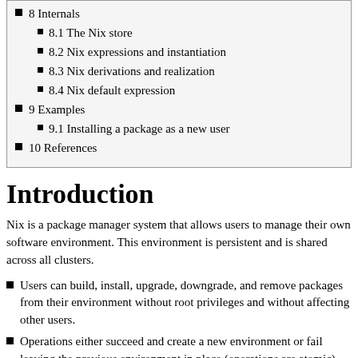8 Internals
8.1 The Nix store
8.2 Nix expressions and instantiation
8.3 Nix derivations and realization
8.4 Nix default expression
9 Examples
9.1 Installing a package as a new user
10 References
Introduction
Nix is a package manager system that allows users to manage their own software environment. This environment is persistent and is shared across all clusters.
Users can build, install, upgrade, downgrade, and remove packages from their environment without root privileges and without affecting other users.
Operations either succeed and create a new environment or fail leaving the previous environment in place (operations are atomic).
Previous environments can be switched back to at any point.